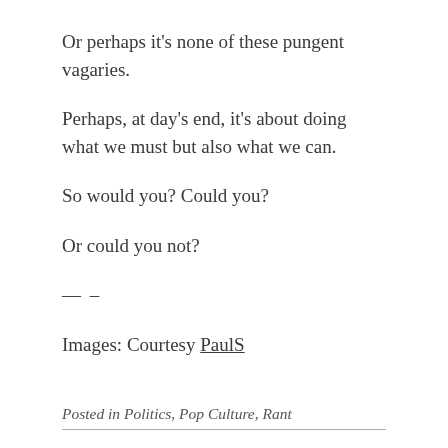Or perhaps it’s none of these pungent vagaries.
Perhaps, at day’s end, it’s about doing what we must but also what we can.
So would you? Could you?
Or could you not?
— –
Images: Courtesy PaulS
Posted in Politics, Pop Culture, Rant